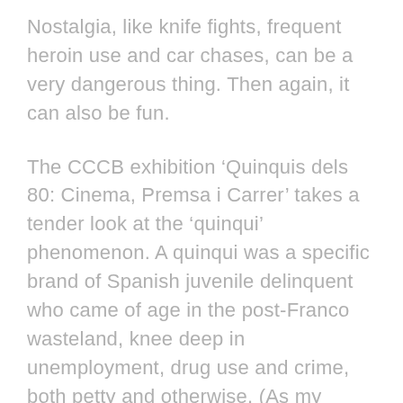Nostalgia, like knife fights, frequent heroin use and car chases, can be a very dangerous thing. Then again, it can also be fun.
The CCCB exhibition ‘Quinquis dels 80: Cinema, Premsa i Carrer’ takes a tender look at the ‘quinqui’ phenomenon. A quinqui was a specific brand of Spanish juvenile delinquent who came of age in the post-Franco wasteland, knee deep in unemployment, drug use and crime, both petty and otherwise. (As my friend Pere pointed out, “you can’t mythologise these guys; they weren’t good people.”)
Yet good or bad, they left an indelible mark on Spanish society. Literal poster children, the young ruffians came to be the personification of societal growing pains of the time while simultaneously